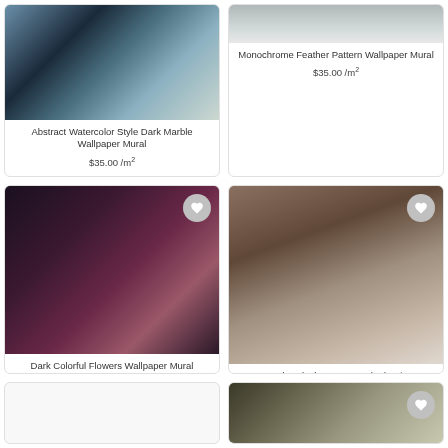[Figure (photo): Abstract watercolor style dark marble wallpaper mural room scene with teal sofa]
Abstract Watercolor Style Dark Marble Wallpaper Mural
$35.00 /m²
[Figure (photo): Monochrome feather pattern wallpaper mural room scene]
Monochrome Feather Pattern Wallpaper Mural
$35.00 /m²
[Figure (photo): Dark colorful flowers wallpaper mural (partially visible)]
Dark Colorful Flowers Wallpaper Mural
$35.00 /m²
[Figure (photo): Watercolor black brown smoked paint art wallpaper mural]
Watercolor Black Brown Smoked Paint Art Wallpaper Mural
$35.00 /m²
[Figure (photo): New product card (partially visible at bottom right)]